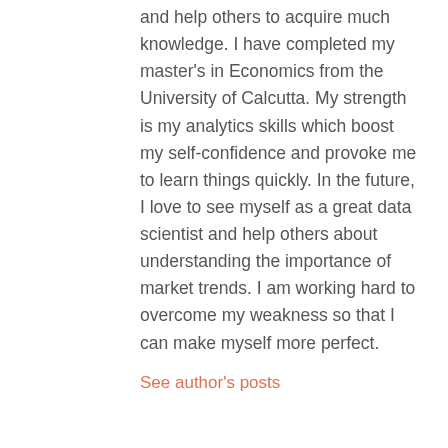and help others to acquire much knowledge. I have completed my master's in Economics from the University of Calcutta. My strength is my analytics skills which boost my self-confidence and provoke me to learn things quickly. In the future, I love to see myself as a great data scientist and help others about understanding the importance of market trends. I am working hard to overcome my weakness so that I can make myself more perfect.
See author's posts